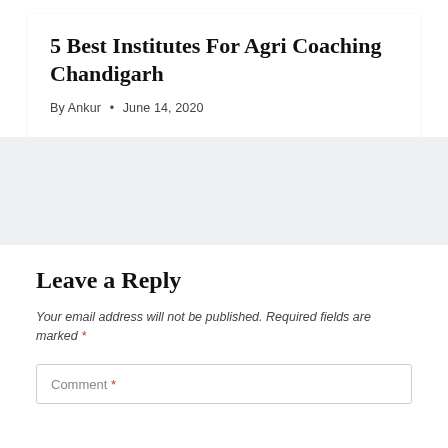5 Best Institutes For Agri Coaching Chandigarh
By Ankur • June 14, 2020
Leave a Reply
Your email address will not be published. Required fields are marked *
Comment *